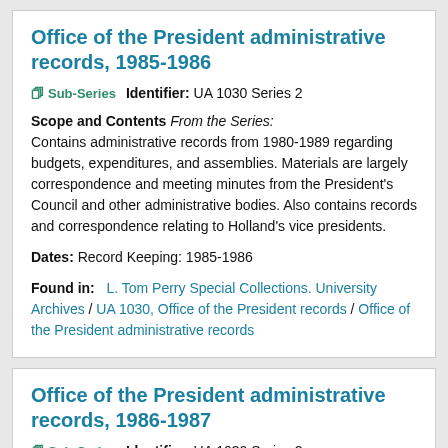Office of the President administrative records, 1985-1986
Sub-Series   Identifier: UA 1030 Series 2
Scope and Contents From the Series: Contains administrative records from 1980-1989 regarding budgets, expenditures, and assemblies. Materials are largely correspondence and meeting minutes from the President's Council and other administrative bodies. Also contains records and correspondence relating to Holland's vice presidents.
Dates: Record Keeping: 1985-1986
Found in:   L. Tom Perry Special Collections. University Archives / UA 1030, Office of the President records / Office of the President administrative records
Office of the President administrative records, 1986-1987
Sub-Series   Identifier: UA 1030 Series 2